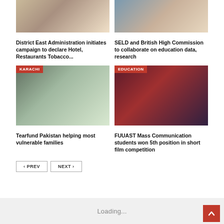[Figure (photo): Group photo at top-left card (partially cropped at top)]
District East Administration initiates campaign to declare Hotel, Restaurants Tobacco...
[Figure (photo): Person holding award/books at top-right card (partially cropped at top)]
SELD and British High Commission to collaborate on education data, research
[Figure (photo): Tearfund Pakistan emergency response event with KARACHI badge]
Tearfund Pakistan helping most vulnerable families
[Figure (photo): FUUAST Mass Communication award ceremony with EDUCATION badge]
FUUAST Mass Communication students won 5th position in short film competition
‹ PREV   NEXT ›
Loading...